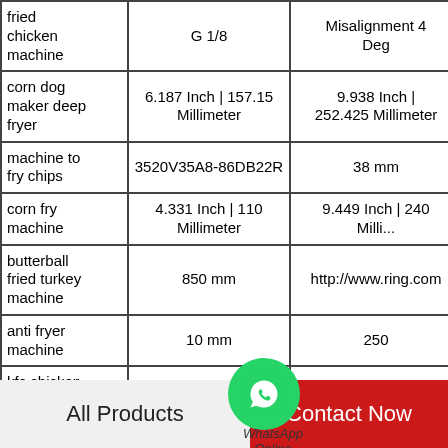| Product | Spec 1 | Spec 2 | Spec 3 |
| --- | --- | --- | --- |
| fried chicken machine | G 1/8 | Misalignment 4 Deg | 82 |
| corn dog maker deep fryer | 6.187 Inch | 157.15 Millimeter | 9.938 Inch | 252.425 Millimeter | 3 |
| machine to fry chips | 3520V35A8-86DB22R | 38 mm | 0 |
| corn fry machine | 4.331 Inch | 110 Millimeter | 9.449 Inch | 240 Milli... | 1 |
| butterball fried turkey machine | 850 mm | http://www.ring.com | 9 |
| anti fryer machine | 10 mm | 250 | 2 |
| kfc chicken maker | 45 mm | Assembly | 2 |
| portable |  |  |  |
All Products    Contact Now